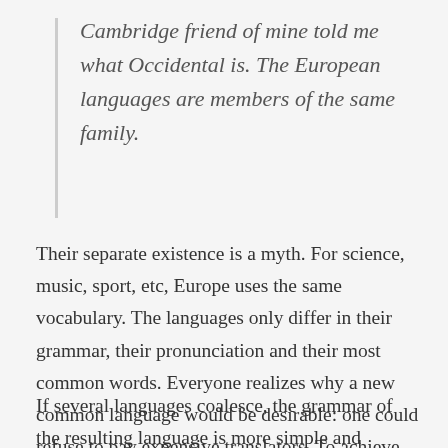Cambridge friend of mine told me what Occidental is. The European languages are members of the same family.
Their separate existence is a myth. For science, music, sport, etc, Europe uses the same vocabulary. The languages only differ in their grammar, their pronunciation and their most common words. Everyone realizes why a new common language would be desirable: one could refuse to pay expensive translators. To achieve this, it would be necessary to have uniform grammar, pronunciation and more common words.
If several languages coalesce, the grammar of the resulting language is more simple and regular than that of the